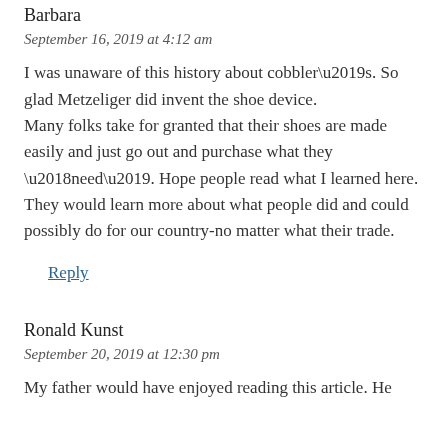Barbara
September 16, 2019 at 4:12 am
I was unaware of this history about cobbler’s. So glad Metzeliger did invent the shoe device. Many folks take for granted that their shoes are made easily and just go out and purchase what they ‘need’. Hope people read what I learned here. They would learn more about what people did and could possibly do for our country-no matter what their trade.
Reply
Ronald Kunst
September 20, 2019 at 12:30 pm
My father would have enjoyed reading this article. He